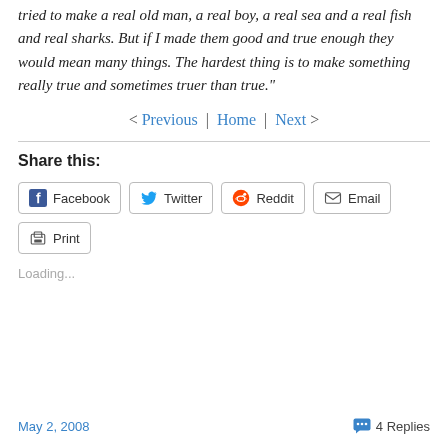tried to make a real old man, a real boy, a real sea and a real fish and real sharks. But if I made them good and true enough they would mean many things. The hardest thing is to make something really true and sometimes truer than true."
< Previous | Home | Next >
Share this:
Facebook Twitter Reddit Email Print
Loading...
May 2, 2008   4 Replies